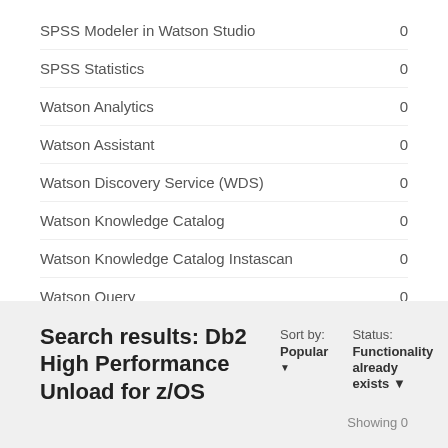SPSS Modeler in Watson Studio   0
SPSS Statistics   0
Watson Analytics   0
Watson Assistant   0
Watson Discovery Service (WDS)   0
Watson Knowledge Catalog   0
Watson Knowledge Catalog Instascan   0
Watson Query   0
Search results: Db2 High Performance Unload for z/OS
Sort by: Popular ▼   Status: Functionality already exists ▼   Showing 0